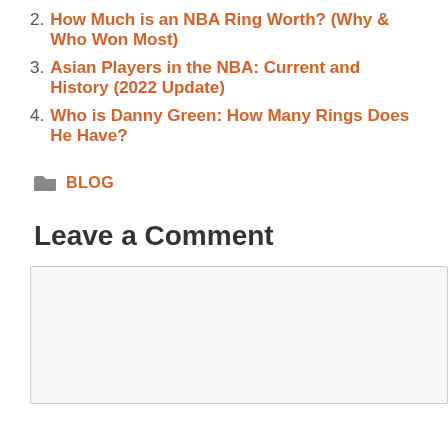2. How Much is an NBA Ring Worth? (Why & Who Won Most)
3. Asian Players in the NBA: Current and History (2022 Update)
4. Who is Danny Green: How Many Rings Does He Have?
BLOG
Leave a Comment